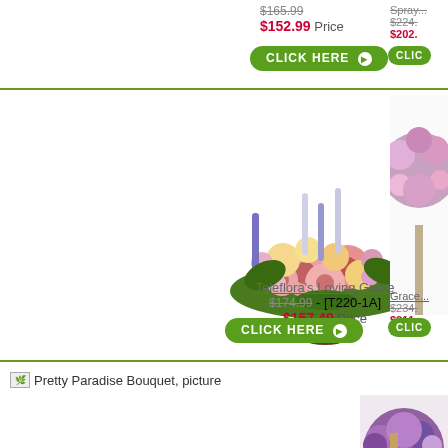$152.99 Price (orig $165.99 - [T255-3A])
[Figure (other): CLICK HERE button (green pill-shaped button with arrow)]
[Figure (photo): Teleflora's Loving Grace floral arrangement in a brown urn vase with pink gerberas, roses, lilies, and purple accent flowers]
Teleflora's Loving Grace
$174.99 - [T220-1A]
$157.49 Price
[Figure (other): CLICK HERE button (green pill-shaped button with arrow)]
Grace... $234... $211...
Pretty Paradise Bouquet, picture
[Figure (photo): Partial view of another floral arrangement at the bottom right of the page]